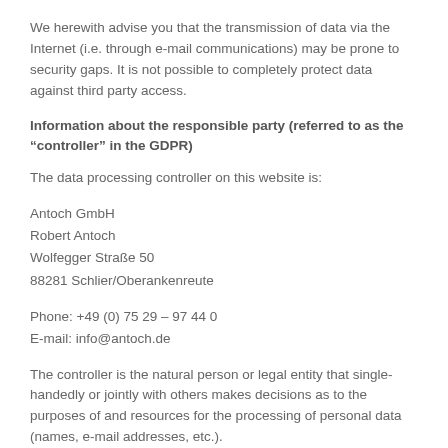collect as well as the purposes we use this data for. It also explains how, and for which purpose the information is collected.
We herewith advise you that the transmission of data via the Internet (i.e. through e-mail communications) may be prone to security gaps. It is not possible to completely protect data against third party access.
Information about the responsible party (referred to as the “controller” in the GDPR)
The data processing controller on this website is:
Antoch GmbH
Robert Antoch
Wolfegger Straße 50
88281 Schlier/Oberankenreute
Phone: +49 (0) 75 29 – 97 44 0
E-mail: info@antoch.de
The controller is the natural person or legal entity that single-handedly or jointly with others makes decisions as to the purposes of and resources for the processing of personal data (names, e-mail addresses, etc.).